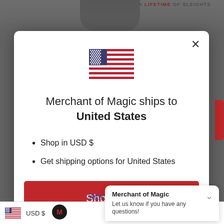[Figure (screenshot): Background of e-commerce website with text 'A LIFETIME OF SLEIGHTS' and partially visible product image]
[Figure (illustration): US flag SVG icon displayed in the modal dialog]
Merchant of Magic ships to United States
Shop in USD $
Get shipping options for United States
Shop now
Merchant of Magic
Let us know if you have any questions!
View full details